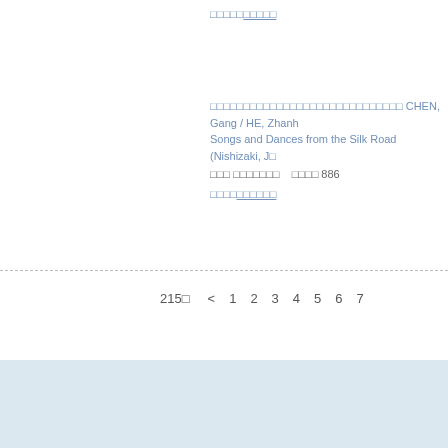□□□□□□□□□□
□□□□□□□□□□□□□□□□□□□□□□□□□□□□□ CHEN, Gang / HE, Zhanh Songs and Dances from the Silk Road (Nishizaki, J□
□□□ □□□□□□□    □□□□ 886
□□□□□□□□□□□□
215□  <  1  2  3  4  5  6  7
□□□□